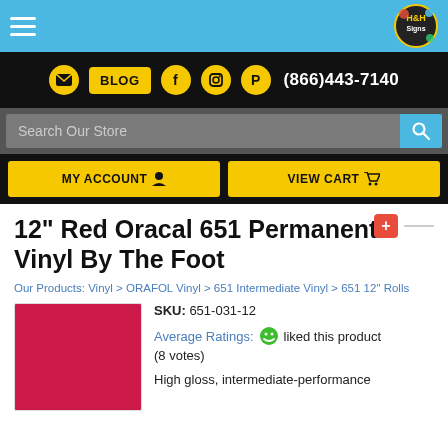[Figure (screenshot): Website header with blue top navigation bar containing hamburger menu and H&H Signs logo]
BLOG  (866)443-7140  Search Our Store  MY ACCOUNT  VIEW CART
12" Red Oracal 651 Permanent Vinyl By The Foot
Our Products: Vinyl > ORAFOL Vinyl > 651 Intermediate Vinyl > 651 12" Rolls
SKU: 651-031-12
Average Ratings: liked this product (8 votes)
High gloss, intermediate-performance